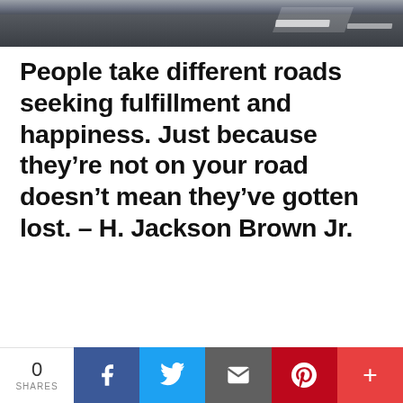[Figure (photo): Road/asphalt photo strip at the top of the page, dark grey pavement with white road markings visible]
People take different roads seeking fulfillment and happiness. Just because they’re not on your road doesn’t mean they’ve gotten lost. – H. Jackson Brown Jr.
0 SHARES | Facebook | Twitter | Email | Pinterest | Plus